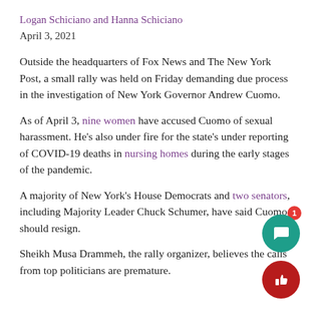Logan Schiciano and Hanna Schiciano
April 3, 2021
Outside the headquarters of Fox News and The New York Post, a small rally was held on Friday demanding due process in the investigation of New York Governor Andrew Cuomo.
As of April 3, nine women have accused Cuomo of sexual harassment. He’s also under fire for the state’s under reporting of COVID-19 deaths in nursing homes during the early stages of the pandemic.
A majority of New York’s House Democrats and two senators, including Majority Leader Chuck Schumer, have said Cuomo should resign.
Sheikh Musa Drammeh, the rally organizer, believes the calls from top politicians are premature.